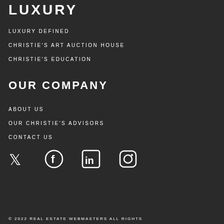LUXURY
LUXURY DEFINED
CHRISTIE'S ART AUCTION HOUSE
CHRISTIE'S EDUCATION
OUR COMPANY
ABOUT US
OUR CHRISTIE'S ADVISORS
CONTACT US
[Figure (infographic): Social media icons: Twitter, Facebook, LinkedIn, Instagram]
© 2022 REAL ESTATE WEBMASTERS ALL RIGHTS